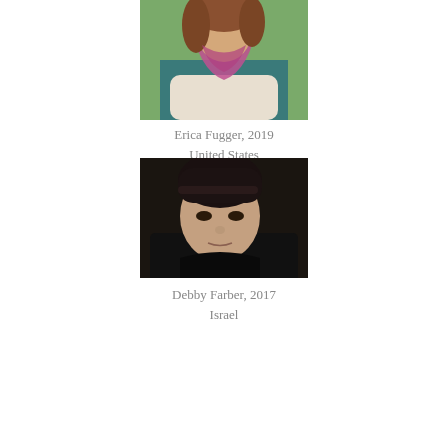[Figure (photo): Photo of Erica Fugger, a woman with curly hair wearing a teal top and magenta scarf, arms crossed, outdoors with green background.]
Erica Fugger, 2019
United States
[Figure (photo): Photo of Debby Farber, a woman with dark hair pulled back, wearing a dark jacket, looking toward the camera against a dark background.]
Debby Farber, 2017
Israel